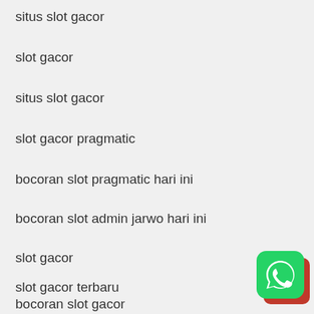situs slot gacor
slot gacor
situs slot gacor
slot gacor pragmatic
bocoran slot pragmatic hari ini
bocoran slot admin jarwo hari ini
slot gacor
slot gacor terbaru
rtp slot gacor
bocoran slot gacor
[Figure (logo): WhatsApp logo icon - green rounded square with white phone/chat bubble symbol, with red corner accent]